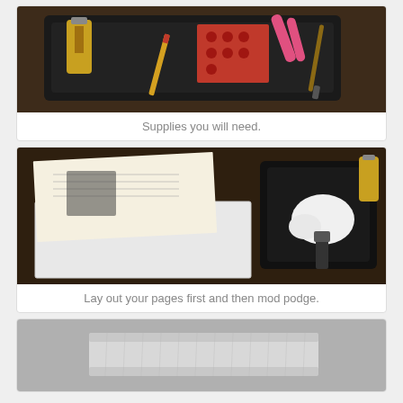[Figure (photo): Craft supplies laid out on a dark baking tray including glue bottle, scissors, pencil, red patterned paper, and a paintbrush, on a wooden table.]
Supplies you will need.
[Figure (photo): Book pages laid out flat on a wooden table next to a black tray containing white mod podge glue and a foam brush applicator, with a canvas board visible.]
Lay out your pages first and then mod podge.
[Figure (photo): A canvas board wrapped with white material or pages along its edge, showing the side profile against a grey background.]